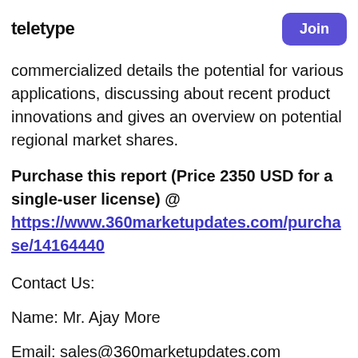teletype | Join
cycle, comparing it to the relevant products from commercialized details the potential for various applications, discussing about recent product innovations and gives an overview on potential regional market shares.
Purchase this report (Price 2350 USD for a single-user license) @ https://www.360marketupdates.com/purchase/14164440
Contact Us:
Name: Mr. Ajay More
Email: sales@360marketupdates.com
Organization: 360 Market Updates
Phone: +1 4242530807 /+44 203 239 8187